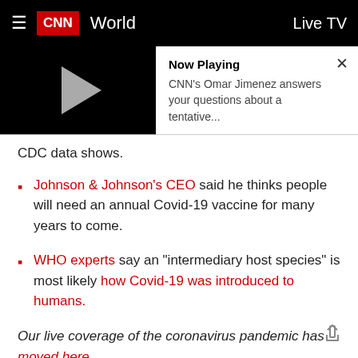CNN World   Live TV
[Figure (screenshot): Video player showing play button on black background with 'Now Playing' text: CNN's Omar Jimenez answers your questions about a tentative... and a close X button]
CDC data shows.
Johnson & Johnson's CEO said he thinks people will need an annual Covid-19 vaccine for many years to come.
WHO experts say an "intermediary host species" is most likely how Covid-19 was introduced to humans.
Our live coverage of the coronavirus pandemic has moved here.